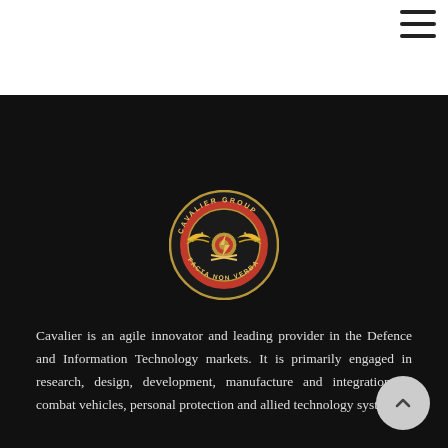[Figure (logo): Cavalier Group circular logo with eagle/thunderbird motif in red, gold and black, text reading CAVALIER GROUP and FACTA NON VERBA around the border]
Cavalier is an agile innovator and leading provider in the Defence and Information Technology markets. It is primarily engaged in research, design, development, manufacture and integration of combat vehicles, personal protection and allied technology systems.